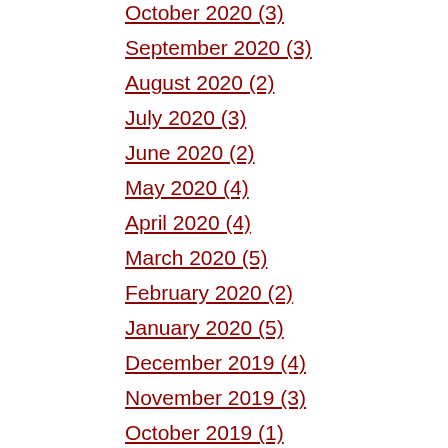October 2020 (3)
September 2020 (3)
August 2020 (2)
July 2020 (3)
June 2020 (2)
May 2020 (4)
April 2020 (4)
March 2020 (5)
February 2020 (2)
January 2020 (5)
December 2019 (4)
November 2019 (3)
October 2019 (1)